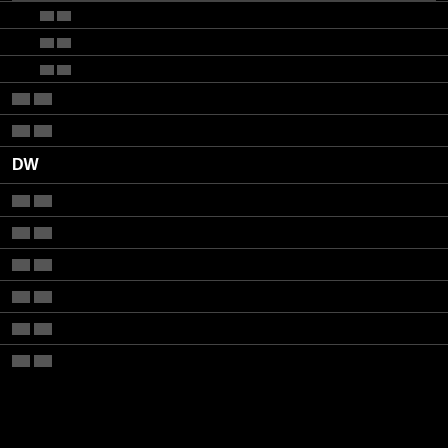□□
□□
□□
□□
□□
DW
□□
□□
□□
□□
□□
□□